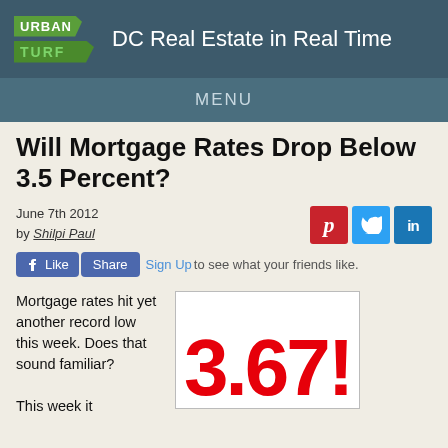[Figure (logo): UrbanTurf logo with green diagonal banner shapes and site tagline 'DC Real Estate in Real Time']
MENU
Will Mortgage Rates Drop Below 3.5 Percent?
June 7th 2012
by Shilpi Paul
Like Share Sign Up to see what your friends like.
Mortgage rates hit yet another record low this week. Does that sound familiar?
[Figure (infographic): Large red bold numbers '3.67!' displayed in a white bordered box representing mortgage rate]